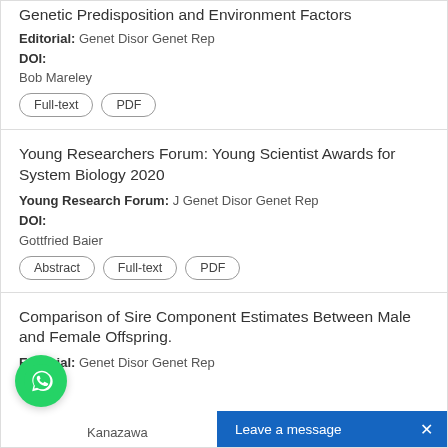Genetic Predisposition and Environment Factors
Editorial: Genet Disor Genet Rep
DOI:
Bob Mareley
Full-text | PDF
Young Researchers Forum: Young Scientist Awards for System Biology 2020
Young Research Forum: J Genet Disor Genet Rep
DOI:
Gottfried Baier
Abstract | Full-text | PDF
Comparison of Sire Component Estimates Between Male and Female Offspring.
Editorial: Genet Disor Genet Rep
Kanazawa
Full-text | PDF